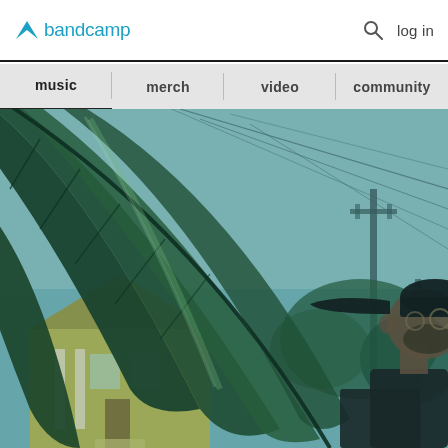bandcamp | log in
music | merch | video | community
[Figure (photo): A man with a beard wearing a cap looking up at large tropical leaves (banana leaf/palm), with utility poles and wires, a yellow house, and suburban street in the background. Photo has a teal/cyan color grade.]